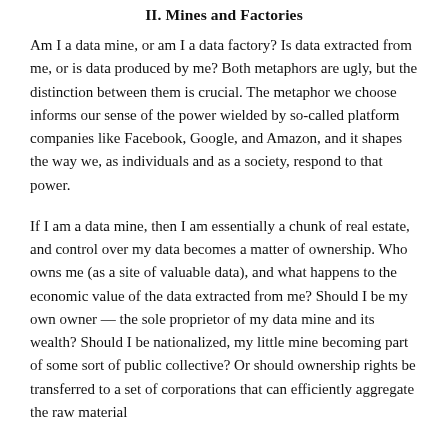II. Mines and Factories
Am I a data mine, or am I a data factory? Is data extracted from me, or is data produced by me? Both metaphors are ugly, but the distinction between them is crucial. The metaphor we choose informs our sense of the power wielded by so-called platform companies like Facebook, Google, and Amazon, and it shapes the way we, as individuals and as a society, respond to that power.
If I am a data mine, then I am essentially a chunk of real estate, and control over my data becomes a matter of ownership. Who owns me (as a site of valuable data), and what happens to the economic value of the data extracted from me? Should I be my own owner — the sole proprietor of my data mine and its wealth? Should I be nationalized, my little mine becoming part of some sort of public collective? Or should ownership rights be transferred to a set of corporations that can efficiently aggregate the raw material from me, and others to produce value from?